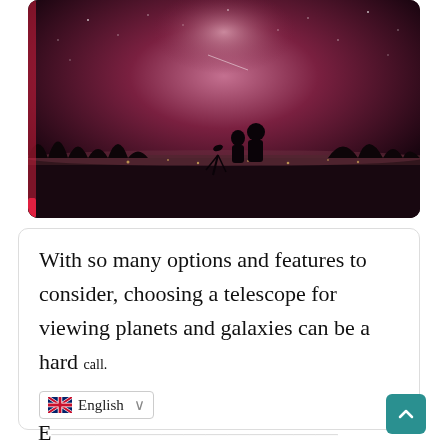[Figure (photo): Two silhouetted people standing outdoors at night with a telescope on a tripod, against a dark reddish-pink night sky with faint stars and city lights on the horizon]
With so many options and features to consider, choosing a telescope for viewing planets and galaxies can be a hard call.
English (language selector dropdown)